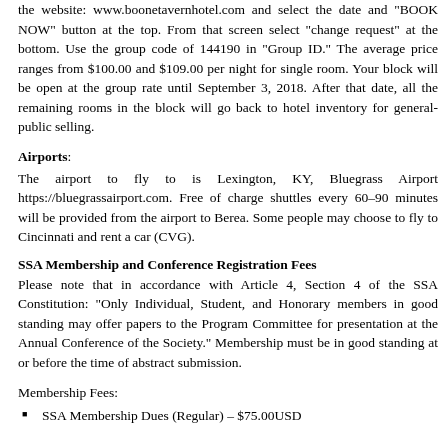the website: www.boonetavernhotel.com and select the date and "BOOK NOW" button at the top. From that screen select "change request" at the bottom. Use the group code of 144190 in "Group ID." The average price ranges from $100.00 and $109.00 per night for single room. Your block will be open at the group rate until September 3, 2018. After that date, all the remaining rooms in the block will go back to hotel inventory for general-public selling.
Airports:
The airport to fly to is Lexington, KY, Bluegrass Airport https://bluegrassairport.com. Free of charge shuttles every 60–90 minutes will be provided from the airport to Berea. Some people may choose to fly to Cincinnati and rent a car (CVG).
SSA Membership and Conference Registration Fees
Please note that in accordance with Article 4, Section 4 of the SSA Constitution: "Only Individual, Student, and Honorary members in good standing may offer papers to the Program Committee for presentation at the Annual Conference of the Society." Membership must be in good standing at or before the time of abstract submission.
Membership Fees:
SSA Membership Dues (Regular) – $75.00USD